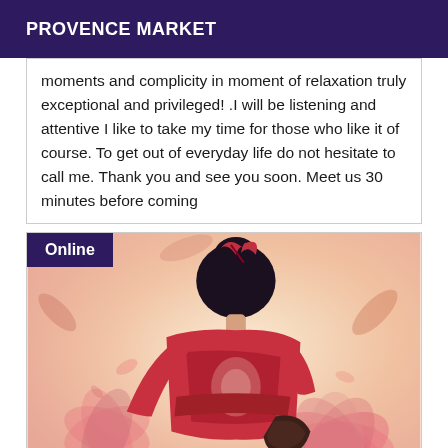PROVENCE MARKET
moments and complicity in moment of relaxation truly exceptional and privileged! .I will be listening and attentive I like to take my time for those who like it of course. To get out of everyday life do not hesitate to call me. Thank you and see you soon. Meet us 30 minutes before coming
[Figure (illustration): Illustration of a woman in a red kimono/dress viewed from behind, with dark hair up, against a warm pink and cream floral background. An 'Online' badge overlays the top-left corner.]